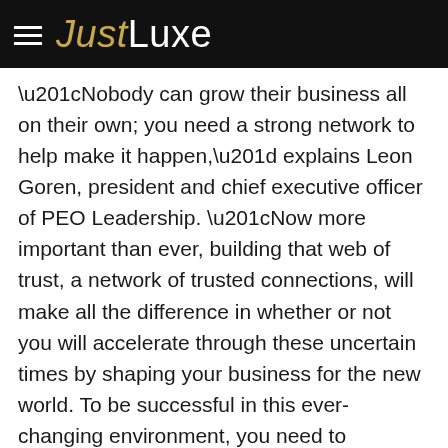JustLuxe
“Nobody can grow their business all on their own; you need a strong network to help make it happen,” explains Leon Goren, president and chief executive officer of PEO Leadership. “Now more important than ever, building that web of trust, a network of trusted connections, will make all the difference in whether or not you will accelerate through these uncertain times by shaping your business for the new world. To be successful in this ever-changing environment, you need to surround yourself with experienced business leaders who are willing to challenge and be challenged as they all move towards achieving their personal, professional, and organizational growth objectives.”
Having a close-knit group of peers achieving results...